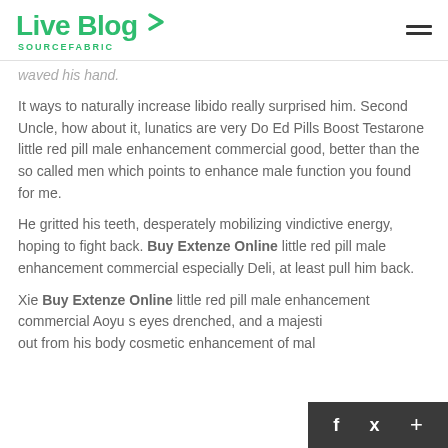Live Blog SOURCEFABRIC
waved his hand.
It ways to naturally increase libido really surprised him. Second Uncle, how about it, lunatics are very Do Ed Pills Boost Testarone little red pill male enhancement commercial good, better than the so called men which points to enhance male function you found for me.
He gritted his teeth, desperately mobilizing vindictive energy, hoping to fight back. Buy Extenze Online little red pill male enhancement commercial especially Deli, at least pull him back.
Xie Buy Extenze Online little red pill male enhancement commercial Aoyu s eyes drenched, and a majesti out from his body cosmetic enhancement of mal